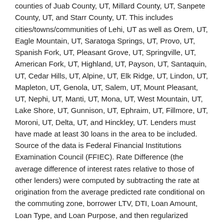counties of Juab County, UT, Millard County, UT, Sanpete County, UT, and Starr County, UT. This includes cities/towns/communities of Lehi, UT as well as Orem, UT, Eagle Mountain, UT, Saratoga Springs, UT, Provo, UT, Spanish Fork, UT, Pleasant Grove, UT, Springville, UT, American Fork, UT, Highland, UT, Payson, UT, Santaquin, UT, Cedar Hills, UT, Alpine, UT, Elk Ridge, UT, Lindon, UT, Mapleton, UT, Genola, UT, Salem, UT, Mount Pleasant, UT, Nephi, UT, Manti, UT, Mona, UT, West Mountain, UT, Lake Shore, UT, Gunnison, UT, Ephraim, UT, Fillmore, UT, Moroni, UT, Delta, UT, and Hinckley, UT. Lenders must have made at least 30 loans in the area to be included. Source of the data is Federal Financial Institutions Examination Council (FFIEC). Rate Difference (the average difference of interest rates relative to those of other lenders) were computed by subtracting the rate at origination from the average predicted rate conditional on the commuting zone, borrower LTV, DTI, Loan Amount, Loan Type, and Loan Purpose, and then regularized based on a Bayesian approach to account for smaller sample sizes. Above-average mortgage closing costs were then added to the rate difference at a rate of +0.15/point. Star ratings were determined in intervals of 0.10% in rate difference per half star.
Mortgage Lender Rankings in Other Cities
This page contains information about the top mortgage lenders in the Lehi, UT area. For mortgage lender rankings in other cities,